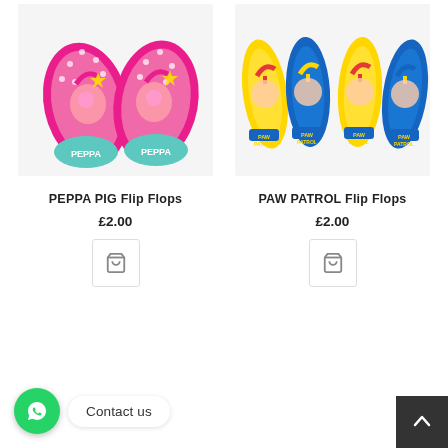[Figure (photo): Photo of Peppa Pig branded flip flops on white background, pink with Peppa Pig character, text PEPPA on soles]
PEPPA PIG Flip Flops
£2.00
[Figure (photo): Photo of PAW Patrol branded flip flops, multiple pairs in red/yellow and blue/yellow colorways with PAW PATROL branding]
PAW PATROL Flip Flops
£2.00
Contact us